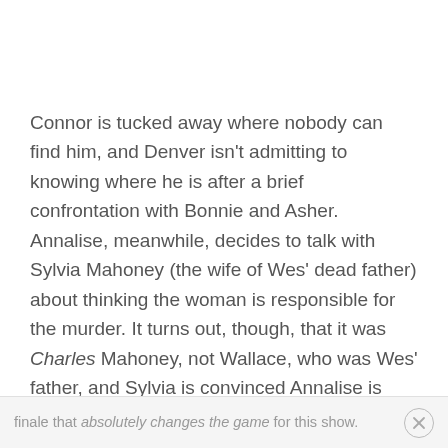Connor is tucked away where nobody can find him, and Denver isn't admitting to knowing where he is after a brief confrontation with Bonnie and Asher. Annalise, meanwhile, decides to talk with Sylvia Mahoney (the wife of Wes' dead father) about thinking the woman is responsible for the murder. It turns out, though, that it was Charles Mahoney, not Wallace, who was Wes' father, and Sylvia is convinced Annalise is responsible for framing Charles. This is another major revelation from the
finale that absolutely changes the game for this show.